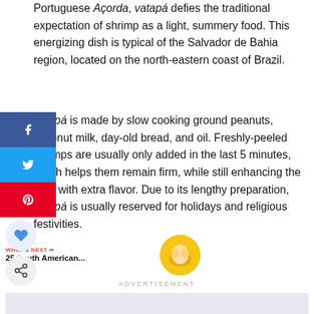Portuguese Açorda, vatapá defies the traditional expectation of shrimp as a light, summery food. This energizing dish is typical of the Salvador de Bahia region, located on the north-eastern coast of Brazil.
[Figure (infographic): Social media sharing sidebar with Facebook (blue), Twitter (blue), Pinterest (red) buttons, a heart/save circle button, and a share circle button]
vatapá is made by slow cooking ground peanuts, coconut milk, day-old bread, and oil. Freshly-peeled shrimps are usually only added in the last 5 minutes, which helps them remain firm, while still enhancing the food with extra flavor. Due to its lengthy preparation, vatapá is usually reserved for holidays and religious festivities.
WHAT'S NEXT → 25 South American...
ADVERTISEMENT